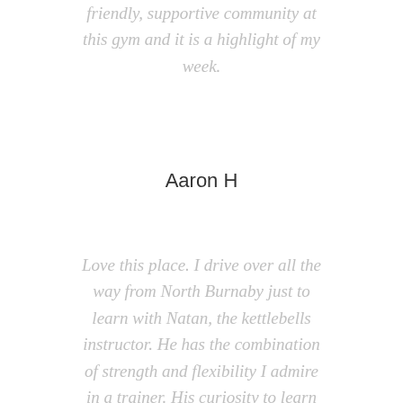friendly, supportive community at this gym and it is a highlight of my week.
Aaron H
Love this place. I drive over all the way from North Burnaby just to learn with Natan, the kettlebells instructor. He has the combination of strength and flexibility I admire in a trainer. His curiosity to learn and desire to engage his edge is